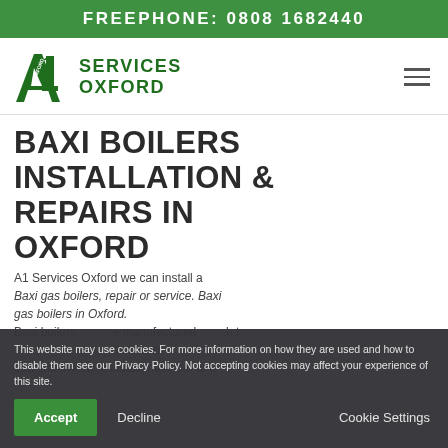FREEPHONE: 0808 1682440
[Figure (logo): A1 Services Oxford logo — stylized green A1 letter mark with 'OXFORD' text, next to 'SERVICES OXFORD' in bold green text]
BAXI BOILERS INSTALLATION & REPAIRS IN OXFORD
A1 Services Oxford we can install a Baxi gas boilers, repair or service. Baxi gas boilers in Oxford.
Baxi boilers are manufactured … high efficiency boilers are straightforward to install, maintain and
This website may use cookies. For more information on how they are used and how to disable them see our Privacy Policy. Not accepting cookies may affect your experience of this site.